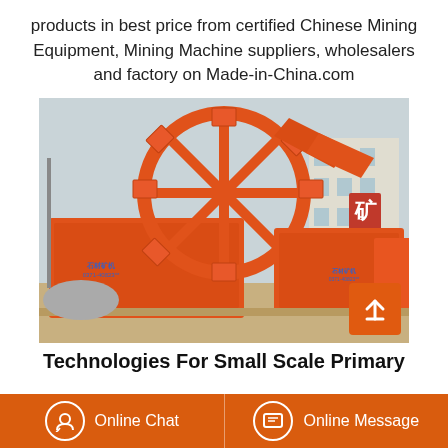products in best price from certified Chinese Mining Equipment, Mining Machine suppliers, wholesalers and factory on Made-in-China.com
[Figure (photo): Large orange industrial sand washing machine with a wheel bucket conveyor, photographed outdoors at a factory yard. Multiple units visible. Chinese text on machine body.]
Technologies For Small Scale Primary
Online Chat    Online Message